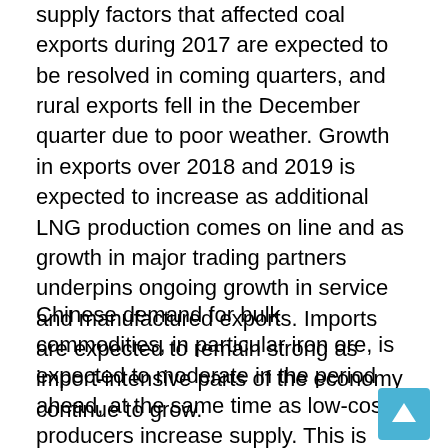supply factors that affected coal exports during 2017 are expected to be resolved in coming quarters, and rural exports fell in the December quarter due to poor weather. Growth in exports over 2018 and 2019 is expected to increase as additional LNG production comes on line and as growth in major trading partners underpins ongoing growth in service and manufactured exports. Imports are expected to remain strong as import-intensive parts of the economy continue to grow.
Chinese demand for bulk commodities, in particular iron ore, is expected to moderate in the period ahead, at the same time as low-cost producers increase supply. This is expected to lead to lower bulk commodity prices over the medium term. Consequently, the terms of trade are expected to decline over the medium term, but to remain above their trough in early 2016 (Graph 5.2).